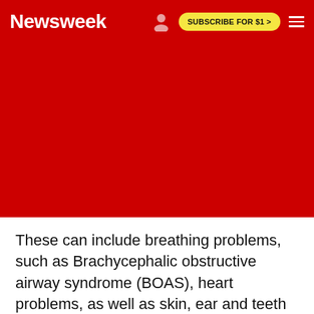Newsweek | SUBSCRIBE FOR $1 >
[Figure (other): Red background area below navigation header, likely image placeholder]
These can include breathing problems, such as Brachycephalic obstructive airway syndrome (BOAS), heart problems, as well as skin, ear and teeth problems due to their head shape. This can also result in neurological